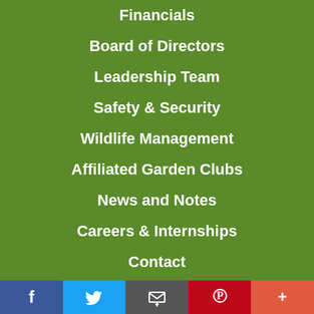Financials
Board of Directors
Leadership Team
Safety & Security
Wildlife Management
Affiliated Garden Clubs
News and Notes
Careers & Internships
Contact
Volunteer Login
Membership Portal
Social sharing bar: Facebook, Twitter, Email, Pinterest, More